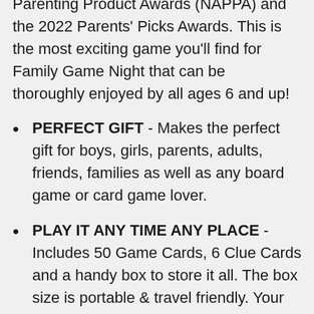Parenting Product Awards (NAPPA) and the 2022 Parents' Picks Awards. This is the most exciting game you'll find for Family Game Night that can be thoroughly enjoyed by all ages 6 and up!
PERFECT GIFT - Makes the perfect gift for boys, girls, parents, adults, friends, families as well as any board game or card game lover.
PLAY IT ANY TIME ANY PLACE - Includes 50 Game Cards, 6 Clue Cards and a handy box to store it all. The box size is portable & travel friendly. Your child can become an instant champion by playing at game nights, gatherings, birthdays, parties, and other occasions.